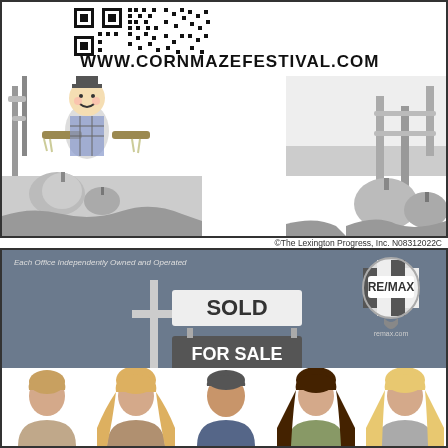[Figure (illustration): Corn maze festival advertisement with QR code at top, URL www.cornmazefestival.com, scarecrow and pumpkins illustration on a farm background]
©The Lexington Progress, Inc. N08312022C
[Figure (illustration): RE/MAX real estate advertisement with SOLD and FOR SALE sign graphic, RE/MAX balloon logo, remax.com, tagline 'Each Office Independently Owned and Operated', and five agent headshots at bottom]